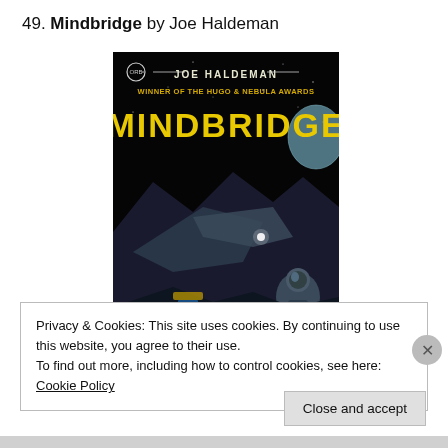49. Mindbridge by Joe Haldeman
[Figure (illustration): Book cover of Mindbridge by Joe Haldeman. Black background with space scene featuring spacecraft and an astronaut in the foreground. Yellow text reads 'JOE HALDEMAN' and 'WINNER OF THE HUGO & NEBULA AWARDS'. Large stylized yellow text reads 'MINDBRIDGE'.]
Privacy & Cookies: This site uses cookies. By continuing to use this website, you agree to their use.
To find out more, including how to control cookies, see here: Cookie Policy
Close and accept